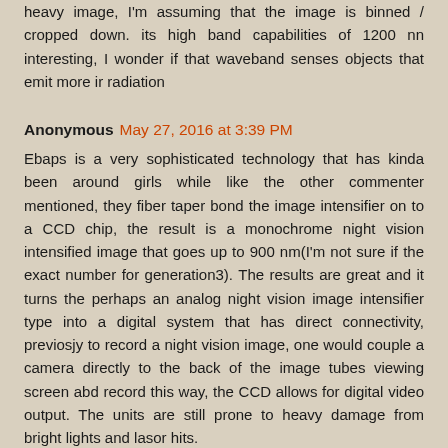heavy image, I'm assuming that the image is binned / cropped down. its high band capabilities of 1200 nn interesting, I wonder if that waveband senses objects that emit more ir radiation
Anonymous May 27, 2016 at 3:39 PM
Ebaps is a very sophisticated technology that has kinda been around girls while like the other commenter mentioned, they fiber taper bond the image intensifier on to a CCD chip, the result is a monochrome night vision intensified image that goes up to 900 nm(I'm not sure if the exact number for generation3). The results are great and it turns the perhaps an analog night vision image intensifier type into a digital system that has direct connectivity, previosjy to record a night vision image, one would couple a camera directly to the back of the image tubes viewing screen abd record this way, the CCD allows for digital video output. The units are still prone to heavy damage from bright lights and lasor hits.